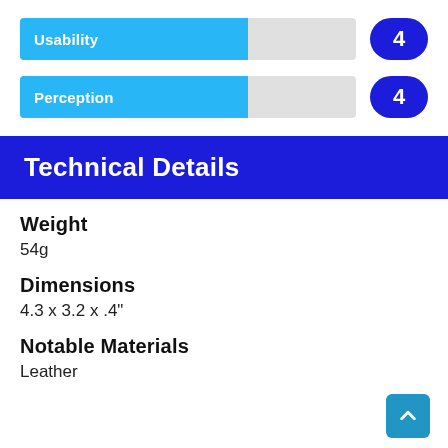[Figure (bar-chart): Usability]
[Figure (bar-chart): Perception]
Technical Details
Weight
54g
Dimensions
4.3 x 3.2 x .4"
Notable Materials
Leather